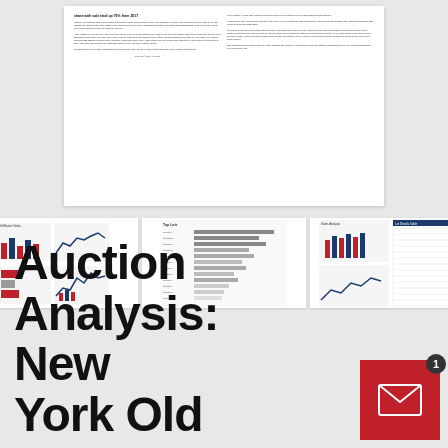[Figure (screenshot): Thumbnail preview of a multi-page financial auction analysis report showing text columns, bar charts, line charts, horizontal bar charts, and data tables]
Auction Analysis: New York Old
[Figure (infographic): Red square email/notification button with envelope icon and badge showing number 1]